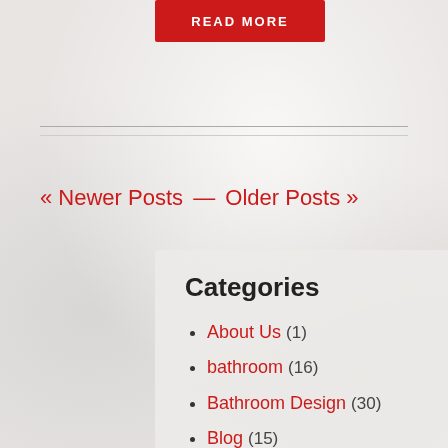[Figure (other): Red 'READ MORE' button at top of page]
« Newer Posts — Older Posts »
Categories
About Us (1)
bathroom (16)
Bathroom Design (30)
Blog (15)
Cabinets (16)
CaesarStone (14)